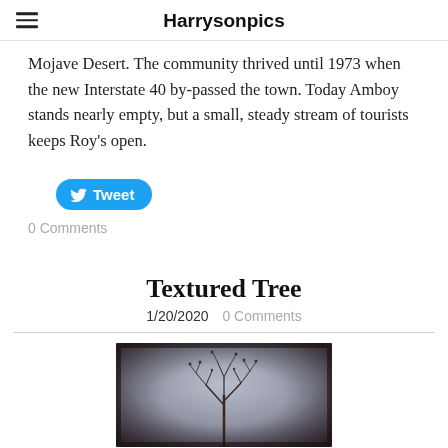Harrysonpics
Mojave Desert. The community thrived until 1973 when the new Interstate 40 by-passed the town. Today Amboy stands nearly empty, but a small, steady stream of tourists keeps Roy's open.
Tweet
0 Comments
Textured Tree
1/20/2020   0 Comments
[Figure (photo): A moody, vintage-style photograph of bare tree branches against a grey-purple sky, with a dark vignette border around the edges.]